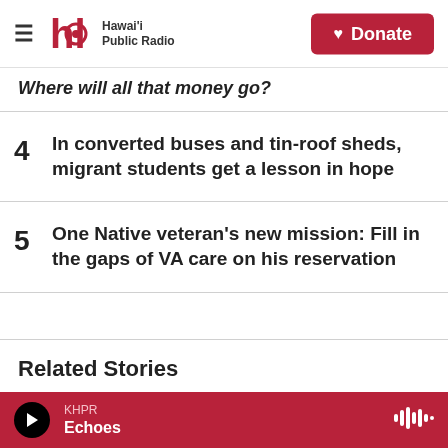Hawai'i Public Radio — Donate
Where will all that money go?
4 In converted buses and tin-roof sheds, migrant students get a lesson in hope
5 One Native veteran's new mission: Fill in the gaps of VA care on his reservation
Related Stories
KHPR Echoes